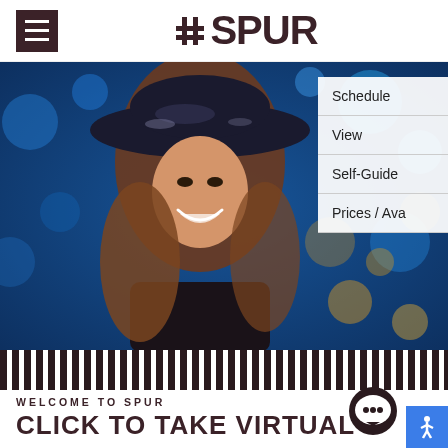#SPUR
[Figure (photo): A smiling woman wearing a wide-brimmed hat, with a blurred bokeh background of blue and gold lights. Navigation buttons overlay the right side: Schedule, View, Self-Guide, Prices / Ava]
[Figure (illustration): Vertical black-and-white striped bar pattern spanning the full width]
WELCOME TO SPUR
CLICK TO TAKE VIRTUAL